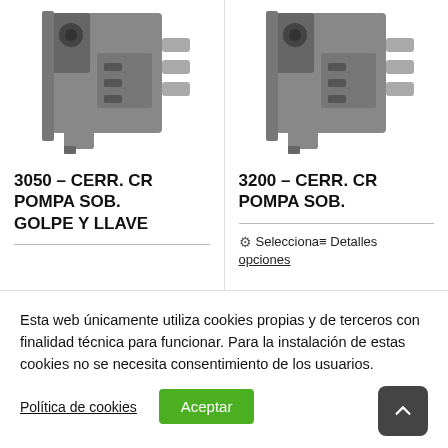[Figure (photo): Photo of lock mechanism 3050 – CERR. CR POMPA SOB. product, metallic lock body with cylinder and bolts visible]
3050 – CERR. CR POMPA SOB. GOLPE Y LLAVE
[Figure (photo): Photo of lock mechanism 3200 – CERR. CR POMPA SOB. product, similar metallic lock body]
3200 – CERR. CR POMPA SOB.
⚙ Selecciona≡ Detalles opciones
Esta web únicamente utiliza cookies propias y de terceros con finalidad técnica para funcionar. Para la instalación de estas cookies no se necesita consentimiento de los usuarios.
Política de cookies
Aceptar